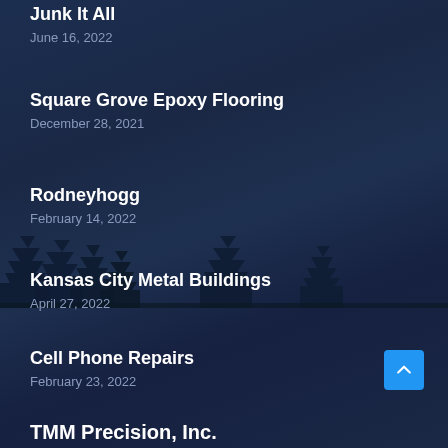Junk It All
June 16, 2022
Square Grove Epoxy Flooring
December 28, 2021
Rodneyhogg
February 14, 2022
Kansas City Metal Buildings
April 27, 2022
Cell Phone Repairs
February 23, 2022
TMM Precision, Inc.